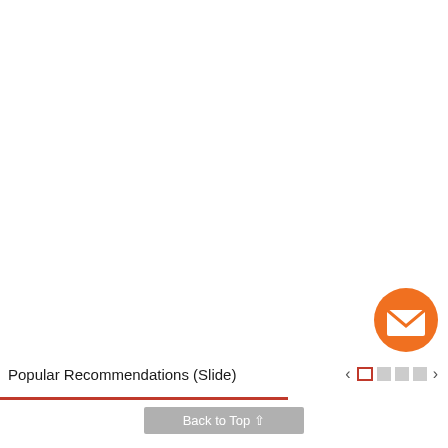[Figure (illustration): Large white blank area filling most of the page, representing an empty slide/content area]
[Figure (illustration): Orange circular email/envelope button in the lower right area]
Popular Recommendations (Slide)
[Figure (illustration): Slide navigation controls: left arrow, active square indicator, three dot indicators, right arrow]
Back to Top